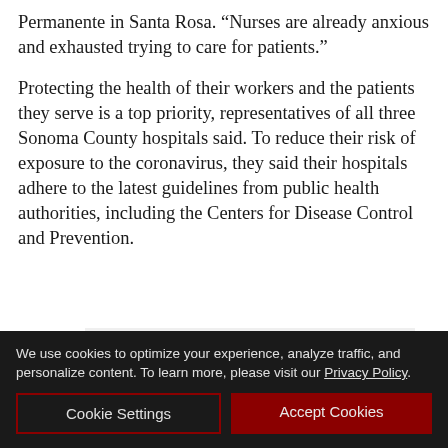Permanente in Santa Rosa. “Nurses are already anxious and exhausted trying to care for patients.”
Protecting the health of their workers and the patients they serve is a top priority, representatives of all three Sonoma County hospitals said. To reduce their risk of exposure to the coronavirus, they said their hospitals adhere to the latest guidelines from public health authorities, including the Centers for Disease Control and Prevention.
[Figure (photo): Partially visible image below the article text]
We use cookies to optimize your experience, analyze traffic, and personalize content. To learn more, please visit our Privacy Policy.
Cookie Settings
Accept Cookies